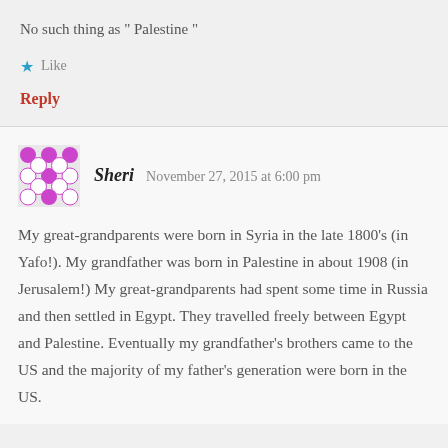No such thing as “ Palestine ”
★ Like
Reply
Sheri    November 27, 2015 at 6:00 pm
My great-grandparents were born in Syria in the late 1800’s (in Yafo!). My grandfather was born in Palestine in about 1908 (in Jerusalem!) My great-grandparents had spent some time in Russia and then settled in Egypt. They travelled freely between Egypt and Palestine. Eventually my grandfather’s brothers came to the US and the majority of my father’s generation were born in the US.